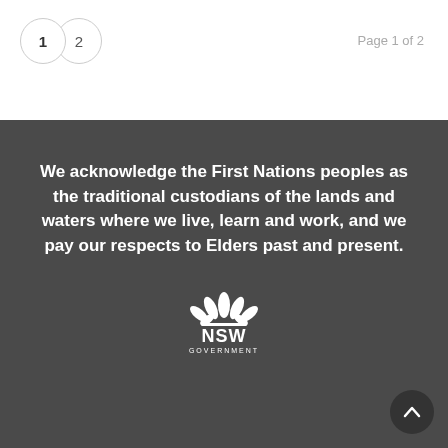Page 1 of 2
We acknowledge the First Nations peoples as the traditional custodians of the lands and waters where we live, learn and work, and we pay our respects to Elders past and present.
[Figure (logo): NSW Government logo — white lotus flower above bold white text 'NSW' and smaller text 'GOVERNMENT']